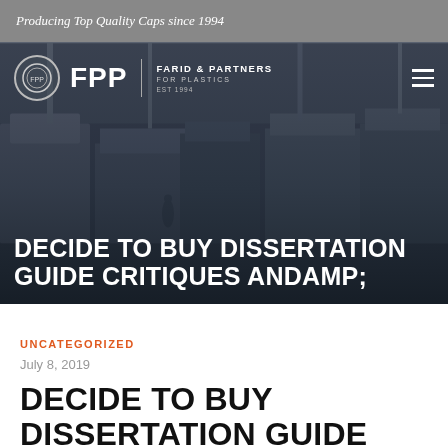Producing Top Quality Caps since 1994
[Figure (screenshot): FPP Farid & Partners For Plastics logo and factory background hero image with navigation bar showing hamburger menu]
DECIDE TO BUY DISSERTATION GUIDE CRITIQUES ANDAMP;
UNCATEGORIZED
July 8, 2019
DECIDE TO BUY DISSERTATION GUIDE